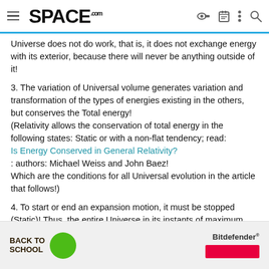SPACE.com
Universe does not do work, that is, it does not exchange energy with its exterior, because there will never be anything outside of it!
3. The variation of Universal volume generates variation and transformation of the types of energies existing in the others, but conserves the Total energy!
(Relativity allows the conservation of total energy in the following states: Static or with a non-flat tendency; read:
Is Energy Conserved in General Relativity?
: authors: Michael Weiss and John Baez!
Which are the conditions for all Universal evolution in the article that follows!)
4. To start or end an expansion motion, it must be stopped (Static)! Thus, the entire Universe in its instants of maximum contraction and maximum expansion, when meeting for a static instant, can be represented by Total Energy (ET) or resting energy (Eo) = Mo x c²
[Figure (infographic): Advertisement banner: Back to School with green circle and Bitdefender ad with red button]